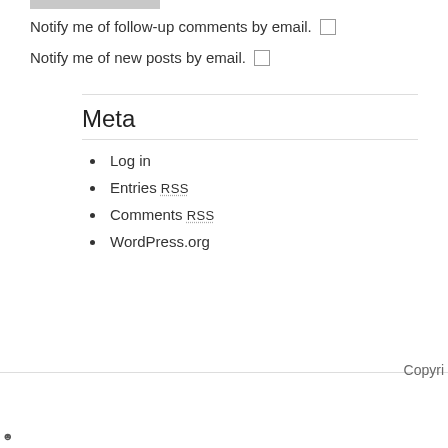Notify me of follow-up comments by email. ☐
Notify me of new posts by email. ☐
Meta
Log in
Entries RSS
Comments RSS
WordPress.org
Copyri